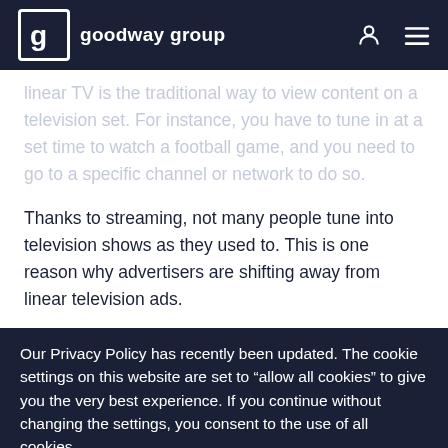goodway group
linear TV is the traditional way to view content on a television set. For instance, you have to tune in at a set time to watch a football game, and you need to go to a specific channel or network to do so.
Thanks to streaming, not many people tune into television shows as they used to. This is one reason why advertisers are shifting away from linear television ads.
The difference between programmatic TV and traditional linear TV lies in how advertisers buy media and place ads. With linear TV, ads are placed based on generalized factors such as schedules, viewership numbers, airtimes,
Our Privacy Policy has recently been updated. The cookie settings on this website are set to “allow all cookies” to give you the very best experience. If you continue without changing the settings, you consent to the use of all cookies.